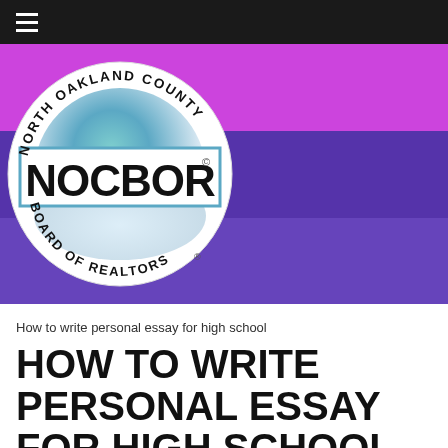[Figure (logo): North Oakland County Board of Realtors (NOCBOR) circular logo with teal/blue gradient circle, text around the border reading NORTH OAKLAND COUNTY at top and BOARD OF REALTORS at bottom, with NOCBOR in large bold text across a white rectangular banner in the center]
How to write personal essay for high school
HOW TO WRITE PERSONAL ESSAY FOR HIGH SCHOOL